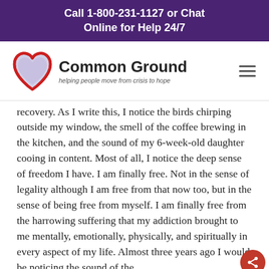Call 1-800-231-1127 or Chat Online for Help 24/7
[Figure (logo): Common Ground logo: red and lavender heart outline on left, bold text 'Common Ground' with tagline 'helping people move from crisis to hope']
recovery. As I write this, I notice the birds chirping outside my window, the smell of the coffee brewing in the kitchen, and the sound of my 6-week-old daughter cooing in content. Most of all, I notice the deep sense of freedom I have. I am finally free. Not in the sense of legality although I am free from that now too, but in the sense of being free from myself. I am finally free from the harrowing suffering that my addiction brought to me mentally, emotionally, physically, and spiritually in every aspect of my life. Almost three years ago I would be noticing the sound of the